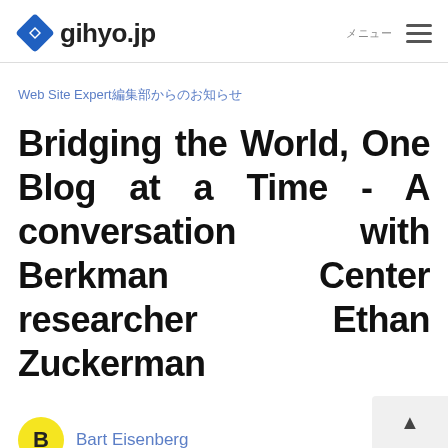gihyo.jp
Web Site Expert編集部からのお知らせ
Bridging the World, One Blog at a Time - A conversation with Berkman Center researcher Ethan Zuckerman
B  Bart Eisenberg
2008-10-06  2  💡  記事を読む